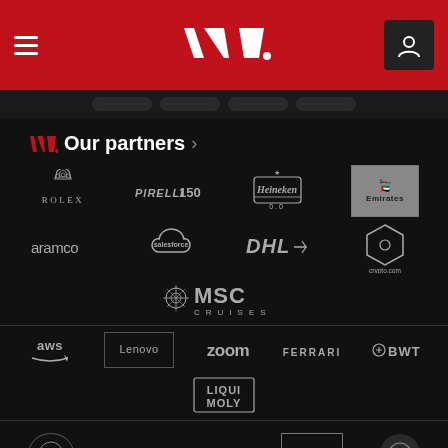[Figure (screenshot): F1 website header with red background, hamburger menu, F1 logo, and user icon]
[Figure (screenshot): Navigation strip with pill-shaped nav buttons]
F1 Our partners >
[Figure (logo): Rolex logo]
[Figure (logo): Pirelli 150 logo]
[Figure (logo): Heineken 0.0 logo]
[Figure (logo): Emirates logo]
[Figure (logo): Aramco logo]
[Figure (logo): Salesforce logo]
[Figure (logo): DHL logo]
[Figure (logo): crypto.com logo]
[Figure (logo): MSC Cruises logo]
[Figure (logo): AWS logo]
[Figure (logo): Lenovo logo]
[Figure (logo): Zoom logo]
[Figure (logo): Ferrari logo]
[Figure (logo): BWT logo]
[Figure (logo): Liqui Moly logo]
[Figure (logo): Partial logos at bottom (Drive to Survive and others)]